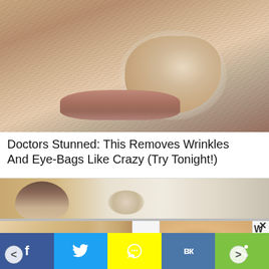[Figure (photo): Close-up photo of an elderly person's face with dry, wrinkled skin and white cream/mask applied around the nose and cheek area]
Doctors Stunned: This Removes Wrinkles And Eye-Bags Like Crazy (Try Tonight!)
[Figure (photo): Partial image of a man's face (forehead and hair visible) in what appears to be a dental or medical setting]
[Figure (photo): Ad carousel left: close-up of a person's smile showing teeth, with fingers visible]
H er e...
[Figure (photo): Ad carousel right: close-up of a person's midsection/belly with wrinkled skin]
W ha
[Figure (infographic): Social share bar with Facebook, Twitter, Snapchat, VK, and share buttons]